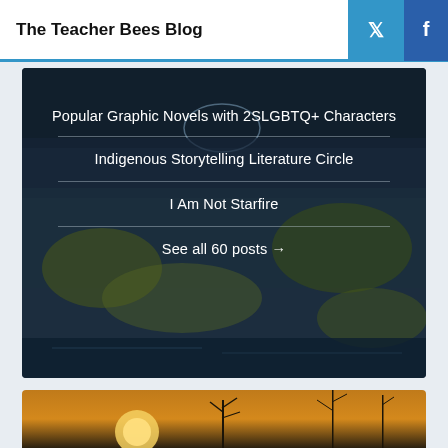The Teacher Bees Blog
[Figure (photo): Dark nature/water reflection scene with blog post links overlaid]
Popular Graphic Novels with 2SLGBTQ+ Characters
Indigenous Storytelling Literature Circle
I Am Not Starfire
See all 60 posts →
[Figure (photo): Sunset silhouette of plants/weeds against warm golden sky]